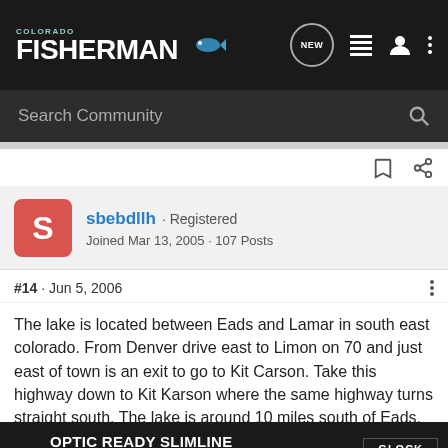COLORADO FISHERMAN — Navigation bar with logo, NEW button, list icon, user icon, more icon
Search Community
sbebdllh · Registered
Joined Mar 13, 2005 · 107 Posts
#14 · Jun 5, 2006
The lake is located between Eads and Lamar in south east colorado. From Denver drive east to Limon on 70 and just east of town is an exit to go to Kit Carson. Take this highway down to Kit Karson where the same highway turns straight south. The lake is around 10 miles south of Eads. On the east side the first lake is Nee Noshe, and another mile or 3 south on the west side is N... Hope th...
[Figure (screenshot): OPTIC READY SLIMLINE advertisement with MOS and Glock branding, FIND A DEALER button]